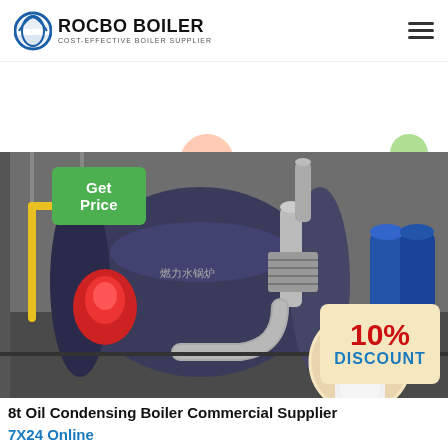[Figure (logo): Rocbo Boiler logo with circular boiler icon and text 'ROCBO BOILER - COST-EFFECTIVE BOILER SUPPLIER']
[Figure (other): Hamburger menu icon (three horizontal lines)]
[Figure (other): Decorative colored circles (pink, green, peach, purple, lavender)]
[Figure (photo): Industrial oil condensing boiler with metallic pipes and fittings, red burner, yellow gas pipe, in an industrial facility. Overlay shows 10% DISCOUNT badge and a customer service representative.]
Get Price
8t Oil Condensing Boiler Commercial Supplier
7X24 Online